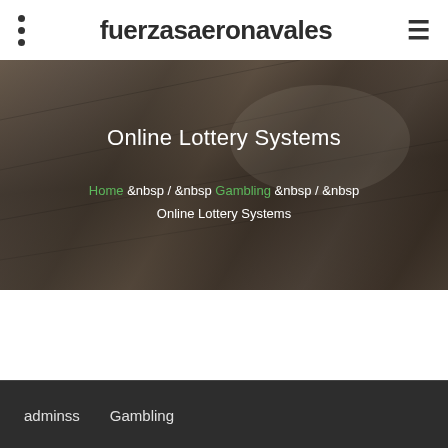fuerzasaeronavales
[Figure (photo): Dark background hero image showing wooden floor boards at an angle, partially illuminated]
Online Lottery Systems
Home &nbsp / &nbsp Gambling &nbsp / &nbsp Online Lottery Systems
adminss   Gambling